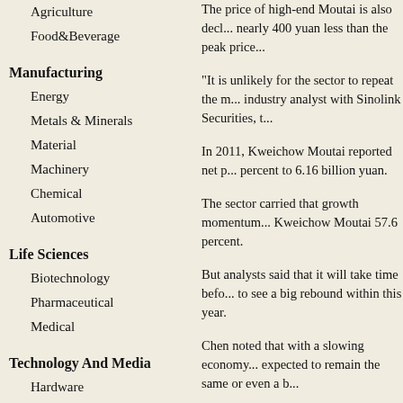Agriculture
Food&Beverage
Manufacturing
Energy
Metals & Minerals
Material
Machinery
Chemical
Automotive
Life Sciences
Biotechnology
Pharmaceutical
Medical
Technology And Media
Hardware
IT & Software
Telecom
Internet
The price of high-end Moutai is also decl... nearly 400 yuan less than the peak price...
"It is unlikely for the sector to repeat the m... industry analyst with Sinolink Securities, t...
In 2011, Kweichow Moutai reported net p... percent to 6.16 billion yuan.
The sector carried that growth momentum... Kweichow Moutai 57.6 percent.
But analysts said that it will take time befo... to see a big rebound within this year.
Chen noted that with a slowing economy... expected to remain the same or even a b...
Zhao Yong, an analyst with Haitong Secu... percent in net profits in 2011, but this yea...
Some liquor producers are trying to buil...